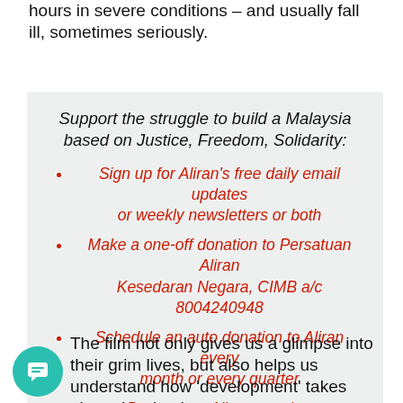hours in severe conditions – and usually fall ill, sometimes seriously.
Support the struggle to build a Malaysia based on Justice, Freedom, Solidarity:
Sign up for Aliran's free daily email updates or weekly newsletters or both
Make a one-off donation to Persatuan Aliran Kesedaran Negara, CIMB a/c 8004240948
Schedule an auto donation to Aliran every month or every quarter
Become an Aliran member
The film not only gives us a glimpse into their grim lives, but also helps us understand how 'development' takes place despite the